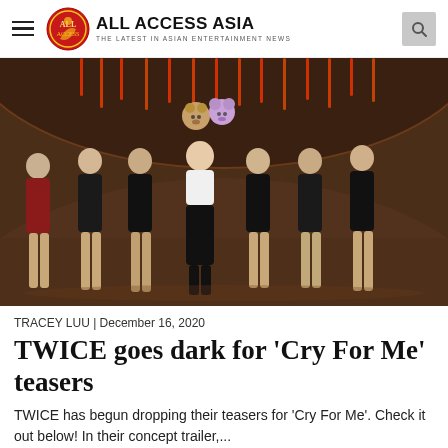ALL ACCESS ASIA — THE LATEST IN ASIAN ENTERTAINMENT NEWS
[Figure (photo): Seven members of TWICE posing together in dark outfits (mostly black) in a circular set with neon red/orange ceiling lights. The center member wears a white and black outfit. Two cartoon character emoji overlays appear at the top center of the image.]
TRACEY LUU | December 16, 2020
TWICE goes dark for 'Cry For Me' teasers
TWICE has begun dropping their teasers for 'Cry For Me'. Check it out below! In their concept trailer,...